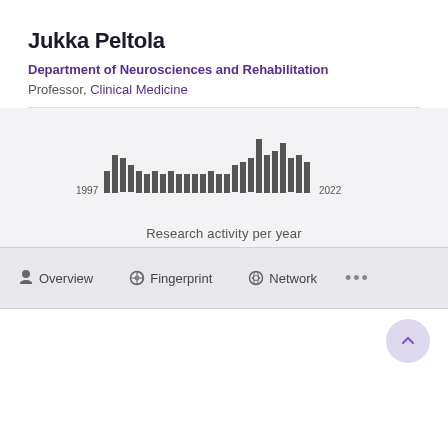Jukka Peltola
Department of Neurosciences and Rehabilitation
Professor, Clinical Medicine
[Figure (bar-chart): Research activity per year]
Research activity per year
Overview   Fingerprint   Network   ...